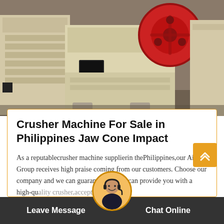[Figure (photo): Industrial jaw crusher machines in cream/beige color with red flywheel visible, photographed in a factory or warehouse setting.]
Crusher Machine For Sale in Philippines Jaw Cone Impact
As a reputablecrusher machine supplierin thePhilippines,our Aimix Group receives high praise coming from our customers. Choose our company and we can guarantee that we can provide you with a high-quality crusher,acceptablecrusher…
Leave Message   Chat Online